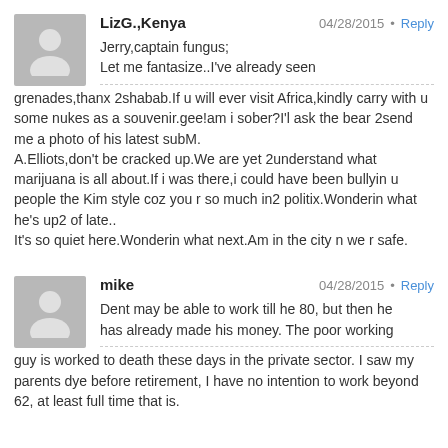LizG.,Kenya — 04/28/2015 • Reply
Jerry,captain fungus;
Let me fantasize..I've already seen grenades,thanx 2shabab.If u will ever visit Africa,kindly carry with u some nukes as a souvenir.gee!am i sober?I'l ask the bear 2send me a photo of his latest subM.
A.Elliots,don't be cracked up.We are yet 2understand what marijuana is all about.If i was there,i could have been bullyin u people the Kim style coz you r so much in2 politix.Wonderin what he's up2 of late..
It's so quiet here.Wonderin what next.Am in the city n we r safe.
mike — 04/28/2015 • Reply
Dent may be able to work till he 80, but then he has already made his money. The poor working guy is worked to death these days in the private sector. I saw my parents dye before retirement, I have no intention to work beyond 62, at least full time that is.